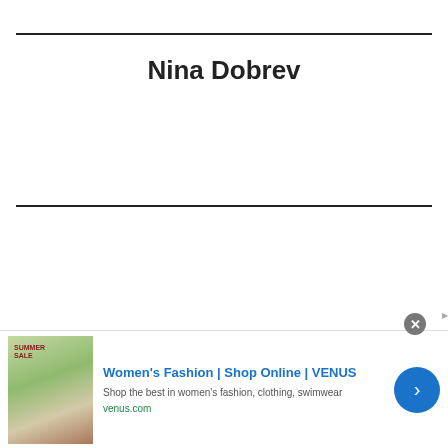Nina Dobrev
[Figure (other): Advertisement banner: Women's Fashion | Shop Online | VENUS. Shop the best in women's fashion, clothing, swimwear. venus.com]